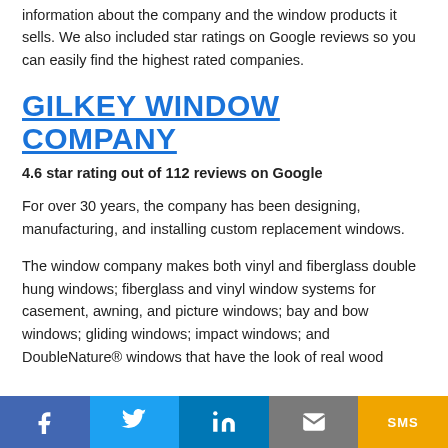information about the company and the window products it sells. We also included star ratings on Google reviews so you can easily find the highest rated companies.
GILKEY WINDOW COMPANY
4.6 star rating out of 112 reviews on Google
For over 30 years, the company has been designing, manufacturing, and installing custom replacement windows.
The window company makes both vinyl and fiberglass double hung windows; fiberglass and vinyl window systems for casement, awning, and picture windows; bay and bow windows; gliding windows; impact windows; and DoubleNature® windows that have the look of real wood